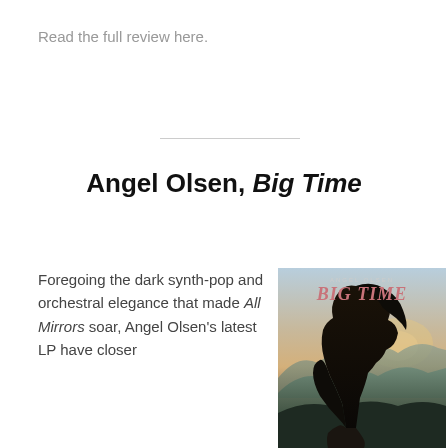Read the full review here.
Angel Olsen, Big Time
Foregoing the dark synth-pop and orchestral elegance that made All Mirrors soar, Angel Olsen's latest LP have closer
[Figure (photo): Album cover of Angel Olsen's Big Time showing a silhouette of a woman against a mountain/sky background with text 'ANGEL OLSEN BIG TIME' at the top]